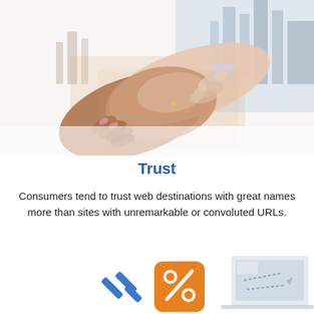[Figure (illustration): Two hands shaking in a handshake, with a city skyline double-exposure overlaid on the hands, rendered in a stylized illustration style with warm and cool tones.]
Trust
Consumers tend to trust web destinations with great names more than sites with unremarkable or convoluted URLs.
[Figure (illustration): Bottom section showing partial infographic icons: a blue sparkle/star icon, an orange square with a white percent sign, and a partial image of a laptop with a cursor/arrow graphic.]